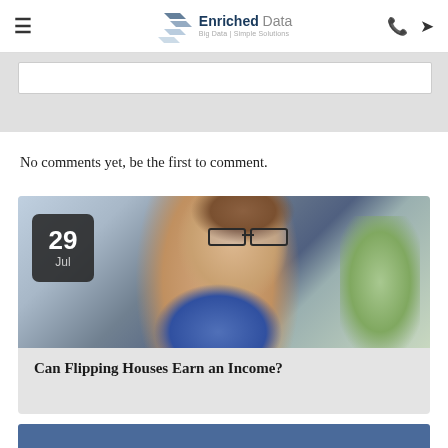Enriched Data — Big Data | Simple Solutions
[Figure (screenshot): Comment form area with white input box on grey background]
No comments yet, be the first to comment.
[Figure (photo): Article card with date badge showing 29 Jul, photo of woman with glasses looking down, title: Can Flipping Houses Earn an Income?]
Can Flipping Houses Earn an Income?
[Figure (photo): Partial view of a second article card with blue background at the bottom of the page]